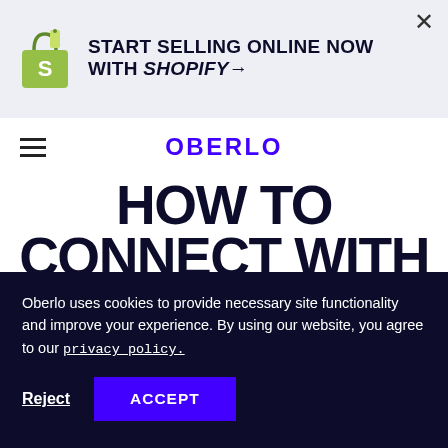[Figure (logo): Shopify bag logo in green and white]
START SELLING ONLINE NOW WITH SHOPIFY→
OBERLO
HOW TO CONNECT WITH YOUR BUYERS THROUGH COPYWRITING
Oberlo uses cookies to provide necessary site functionality and improve your experience. By using our website, you agree to our privacy policy.
Reject  ACCEPT